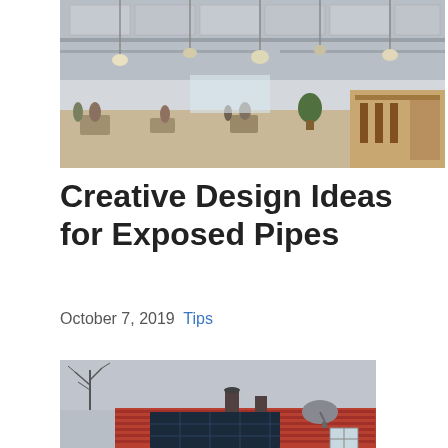[Figure (photo): Interior of a modern restaurant or café with exposed ceiling pipes, pendant lights, and people in the background]
Creative Design Ideas for Exposed Pipes
October 7, 2019  Tips
[Figure (photo): Rooftop of a building with solar panels, chimneys, and a satellite dish against a gray sky]